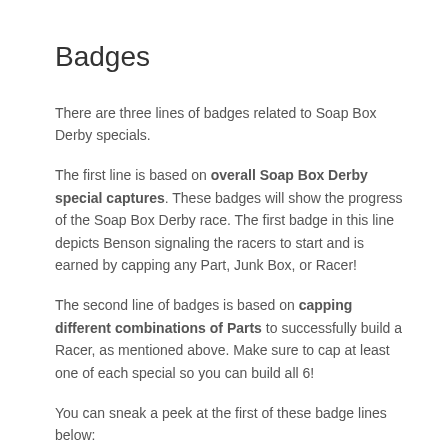Badges
There are three lines of badges related to Soap Box Derby specials.
The first line is based on overall Soap Box Derby special captures. These badges will show the progress of the Soap Box Derby race. The first badge in this line depicts Benson signaling the racers to start and is earned by capping any Part, Junk Box, or Racer!
The second line of badges is based on capping different combinations of Parts to successfully build a Racer, as mentioned above. Make sure to cap at least one of each special so you can build all 6!
You can sneak a peek at the first of these badge lines below: